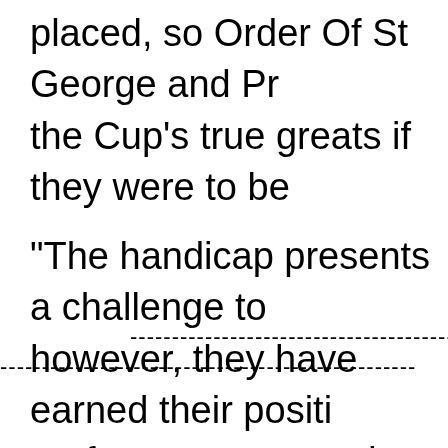placed, so Order Of St George and Pr the Cup's true greats if they were to be
"The handicap presents a challenge to however, they have earned their positi performances over the past 12 months
O'Brien's Great Voltigeur Stakes winne his St Leger mishap, with Doncaster th
------------------------------------------------------------
------------------------------------------------------------